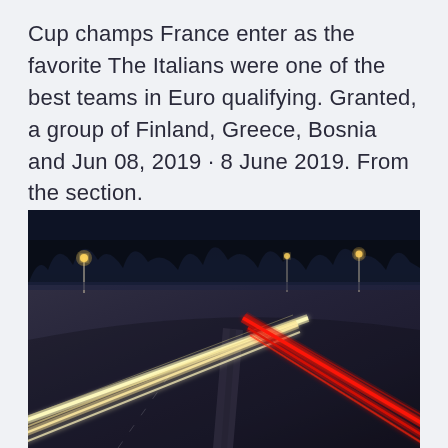Cup champs France enter as the favorite The Italians were one of the best teams in Euro qualifying. Granted, a group of Finland, Greece, Bosnia and Jun 08, 2019 · 8 June 2019. From the section.
[Figure (photo): Long-exposure night photograph of a multi-lane highway with curved light trails — white/yellow streaks on the left lanes from headlights, and red streaks on the right lanes from taillights. Dark blue sky with tree silhouettes in the background and street lights visible.]